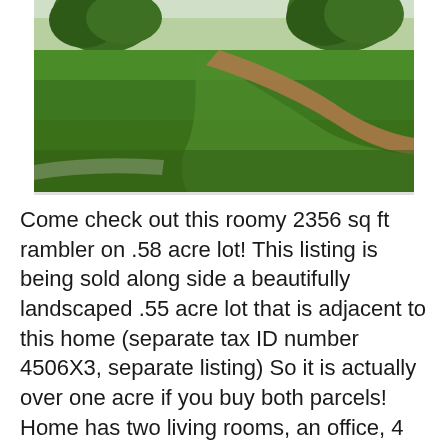[Figure (photo): Outdoor photo of a landscaped lawn with green grass, two large trees, a curved pathway, and a brick or gravel area in the background. A car is partially visible in the upper right.]
Come check out this roomy 2356 sq ft rambler on .58 acre lot! This listing is being sold along side a beautifully landscaped .55 acre lot that is adjacent to this home (separate tax ID number 4506X3, separate listing) So it is actually over one acre if you buy both parcels! Home has two living rooms, an office, 4 bds, 3 full baths (one of which has a bidet!) Main floor living on a nice sized lot! Could use just a little TLC and is being sold in “AS IS” condition. Roof was